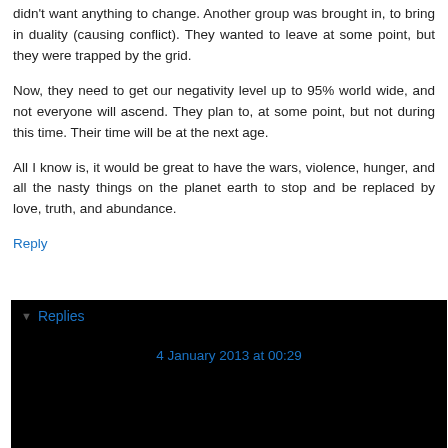didn't want anything to change. Another group was brought in, to bring in duality (causing conflict). They wanted to leave at some point, but they were trapped by the grid.
Now, they need to get our negativity level up to 95% world wide, and not everyone will ascend. They plan to, at some point, but not during this time. Their time will be at the next age.
All I know is, it would be great to have the wars, violence, hunger, and all the nasty things on the planet earth to stop and be replaced by love, truth, and abundance.
Reply
Replies
4 January 2013 at 00:29